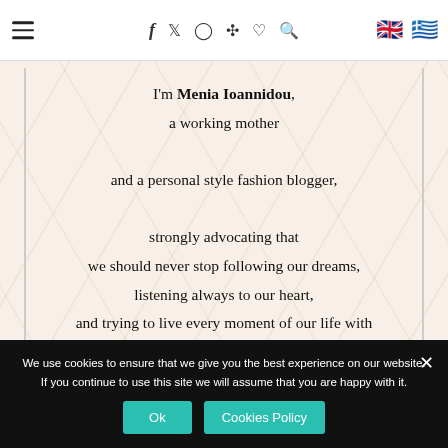≡ f 𝕏 ○ ℗ ♡ 🔍 🇬🇧 🇬🇷
I'm Menia Ioannidou, a working mother and a personal style fashion blogger, strongly advocating that we should never stop following our dreams, listening always to our heart, and trying to live every moment of our life with passion!
We use cookies to ensure that we give you the best experience on our website. If you continue to use this site we will assume that you are happy with it. Ok | Cookies Policy